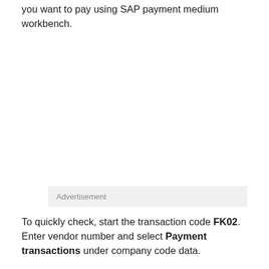you want to pay using SAP payment medium workbench.
Advertisement
To quickly check, start the transaction code FK02. Enter vendor number and select Payment transactions under company code data.